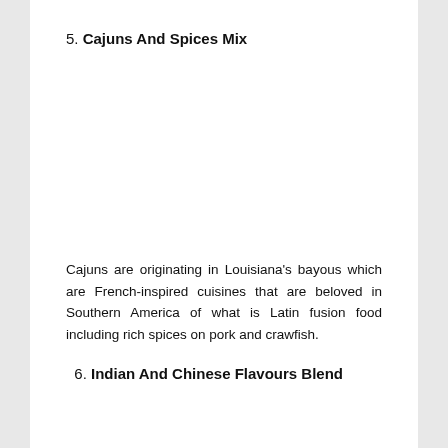5. Cajuns And Spices Mix
Cajuns are originating in Louisiana's bayous which are French-inspired cuisines that are beloved in Southern America of what is Latin fusion food including rich spices on pork and crawfish.
6. Indian And Chinese Flavours Blend